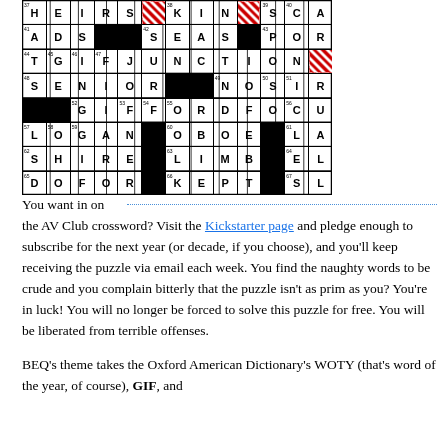[Figure (other): Crossword puzzle grid showing the bottom portion with filled-in answers including HEIRS, KIN, SCALE, ADS, SEAS, PORED, TGIFJUNCTION, SENIOR, NOSIR, GIFFORDFOCUS, LOGAN, OBOE, LAMP, SHIRE, LIMB, ELBA, DOFOR, KEPT, SLAM. Grid has black and white squares with red/white striped blocked cells.]
You want in on the AV Club crossword? Visit the Kickstarter page and pledge enough to subscribe for the next year (or decade, if you choose), and you'll keep receiving the puzzle via email each week. You find the naughty words to be crude and you complain bitterly that the puzzle isn't as prim as you? You're in luck! You will no longer be forced to solve this puzzle for free. You will be liberated from terrible offenses.
BEQ's theme takes the Oxford American Dictionary's WOTY (that's word of the year, of course), GIF, and